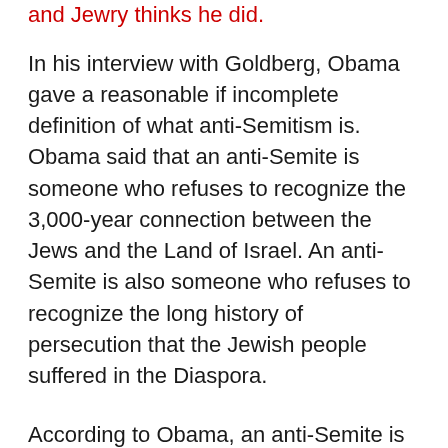and Jewry thinks he did.
In his interview with Goldberg, Obama gave a reasonable if incomplete definition of what anti-Semitism is. Obama said that an anti-Semite is someone who refuses to recognize the 3,000-year connection between the Jews and the Land of Israel. An anti-Semite is also someone who refuses to recognize the long history of persecution that the Jewish people suffered in the Diaspora.
According to Obama, an anti-Semite is someone who refuses to understand that this history of persecution together with the Jews' millennial connection to the Land of Israel is what justifies the existence of Israel in the Land of Israel.
Moreover, according to Obama, anti-Semites refuse to understand that Israel remains in mortal danger due to the